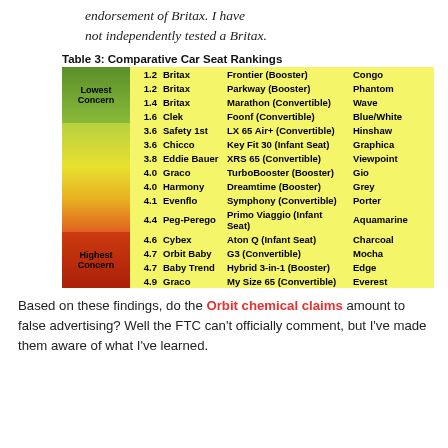Disclaimer: This is not an endorsement of Britax. I have not independently tested a Britax.
Table 3: Comparative Car Seat Rankings
|  | Score | Brand | Model | Color |
| --- | --- | --- | --- | --- |
| Lowest Concern | 1.2 | Britax | Frontier (Booster) | Congo |
|  | 1.2 | Britax | Parkway (Booster) | Phantom |
|  | 1.4 | Britax | Marathon (Convertible) | Wave |
|  | 1.6 | Clek | Foonf (Convertible) | Blue/White |
|  | 3.6 | Safety 1st | LX 65 Air+ (Convertible) | Hinshaw |
|  | 3.6 | Chicco | Key Fit 30 (Infant Seat) | Graphica |
|  | 3.8 | Eddie Bauer | XRS 65 (Convertible) | Viewpoint |
|  | 4.0 | Graco | TurboBooster (Booster) | Gio |
|  | 4.0 | Harmony | Dreamtime (Booster) | Grey |
|  | 4.1 | Evenflo | Symphony (Convertible) | Porter |
|  | 4.4 | Peg-Perego | Primo Viaggio (Infant Seat) | Aquamarine |
|  | 4.6 | Cybex | Aton Q (Infant Seat) | Charcoal |
|  | 4.7 | Orbit Baby | G3 (Convertible) | Mocha |
| Highest Concern | 4.7 | Baby Trend | Hybrid 3-in-1 (Booster) | Edge |
|  | 4.9 | Graco | My Size 65 (Convertible) | Everest |
Based on these findings, do the Orbit chemical claims amount to false advertising? Well the FTC can't officially comment, but I've made them aware of what I've learned.